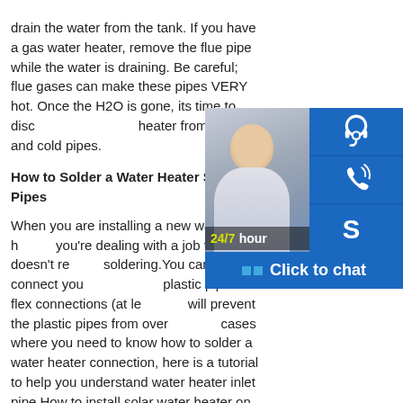drain the water from the tank. If you have a gas water heater, remove the flue pipe while the water is draining. Be careful; flue gases can make these pipes VERY hot. Once the H2O is gone, its time to disconnect the water heater from the hot and cold pipes.
[Figure (infographic): Customer service widget overlay showing 24/7 hour support with photo of smiling customer service representative, three blue icon buttons (headset, phone, Skype), and a 'Click to chat' banner.]
How to Solder a Water Heater Solder Pipes
When you are installing a new water heater, you're dealing with a job that doesn't require soldering.You can usually connect your plastic pipe with flex connections (at least will prevent the plastic pipes from overheating) cases where you need to know how to solder a water heater connection, here is a tutorial to help you understand water heater inlet pipe How to install solar water heater on roof ESCOOStep 3 Installation of water pipes. Plumb the cold water energy in the house to the inlet of the solar storage tank, and the outlet of the solar